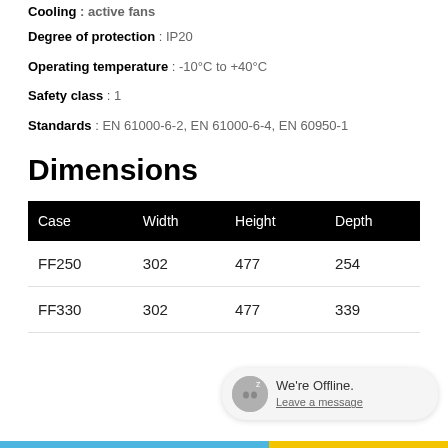Cooling : active fans
Degree of protection : IP20
Operating temperature : -10°C to +40°C
Safety class : 1
Standards : EN 61000-6-2, EN 61000-6-4, EN 60950-1
Dimensions
| Case | Width | Height | Depth |
| --- | --- | --- | --- |
| FF250 | 302 | 477 | 254 |
| FF330 | 302 | 477 | 339 |